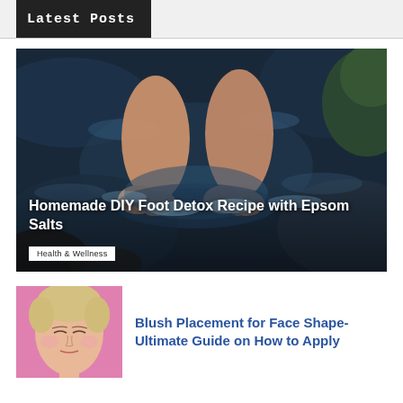Latest Posts
[Figure (photo): Two bare feet submerged in dark rocky water stream, shot from above]
Homemade DIY Foot Detox Recipe with Epsom Salts
Health & Wellness
[Figure (photo): Close-up of a woman's face with short blonde hair against a pink background, eyes closed]
Blush Placement for Face Shape- Ultimate Guide on How to Apply